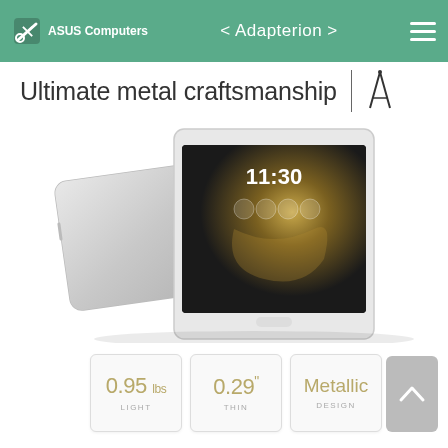ASUS Computers | < Adapterion >
Ultimate metal craftsmanship
[Figure (photo): ASUS ZenPad tablet product photo showing front and back views of a silver metallic tablet with a dark screen displaying 11:30]
0.95 lbs LIGHT
0.29" THIN
Metallic DESIGN